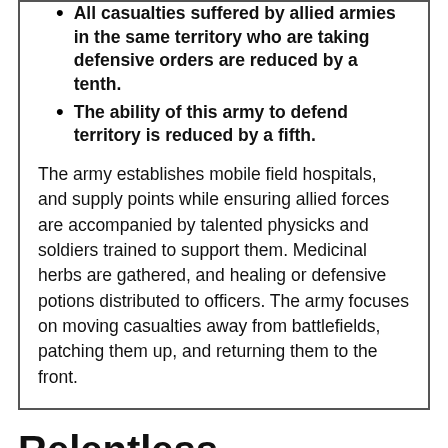All casualties suffered by allied armies in the same territory who are taking defensive orders are reduced by a tenth.
The ability of this army to defend territory is reduced by a fifth.
The army establishes mobile field hospitals, and supply points while ensuring allied forces are accompanied by talented physicks and soldiers trained to support them. Medicinal herbs are gathered, and healing or defensive potions distributed to officers. The army focuses on moving casualties away from battlefields, patching them up, and returning them to the front.
Relentless
Can use the cut them down order when attacking.